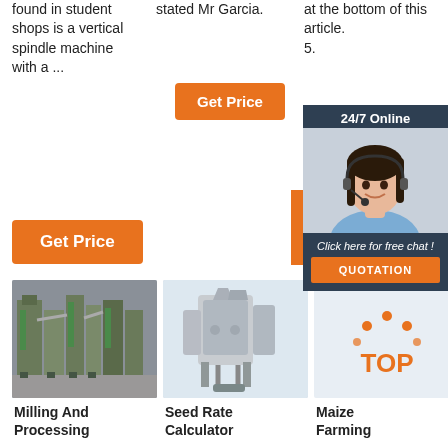found in student shops is a vertical spindle machine with a ...
stated Mr Garcia.
at the bottom of this article. 5.
[Figure (infographic): Orange Get Price button in column 2]
[Figure (infographic): Chat widget with 24/7 Online label, woman with headset, Click here for free chat text, and QUOTATION button]
[Figure (infographic): Orange Get Price button in column 1]
[Figure (photo): Industrial milling and processing machinery in a factory setting]
Milling And Processing
[Figure (photo): Seed rate calculator machine - industrial equipment on light blue background]
Seed Rate Calculator
[Figure (infographic): Maize Farming product card with orange TOP icon]
Maize Farming